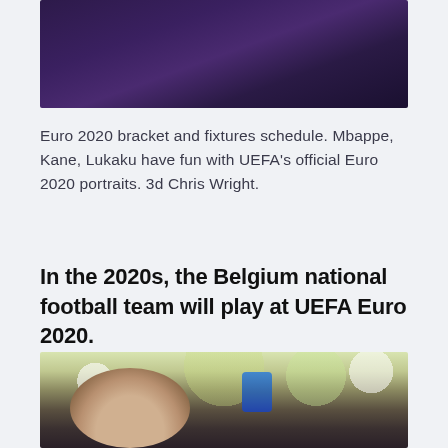[Figure (photo): Top portion of a dark purple/violet bokeh or crowd photo, partially visible at top of page]
Euro 2020 bracket and fixtures schedule. Mbappe, Kane, Lukaku have fun with UEFA's official Euro 2020 portraits. 3d Chris Wright.
In the 2020s, the Belgium national football team will play at UEFA Euro 2020.
[Figure (photo): Photo of a person's hands/arm in a dark shirt at a sporting venue, with bokeh lights and a blue water bottle visible in the background]